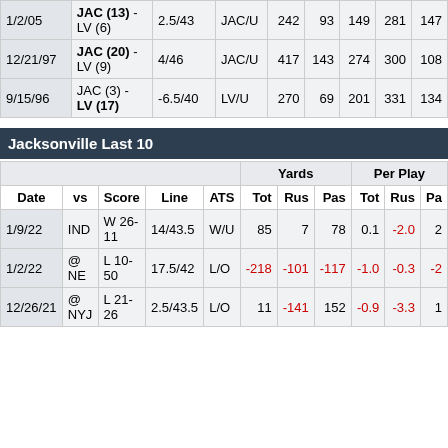| Date | Matchup | Line | ATS | Tot | Rus | Pas | Tot | Rus | Pa |
| --- | --- | --- | --- | --- | --- | --- | --- | --- | --- |
| 1/2/05 | JAC (13) - LV (6) | 2.5/43 | JAC/U | 242 | 93 | 149 | 281 | 147 |
| 12/21/97 | JAC (20) - LV (9) | 4/46 | JAC/U | 417 | 143 | 274 | 300 | 108 |
| 9/15/96 | JAC (3) - LV (17) | -6.5/40 | LV/U | 270 | 69 | 201 | 331 | 134 |
Jacksonville Last 10
| Date | vs | Score | Line | ATS | Tot | Rus | Pas | Tot | Rus | Pa |
| --- | --- | --- | --- | --- | --- | --- | --- | --- | --- | --- |
| 1/9/22 | IND | W 26-11 | 14/43.5 | W/U | 85 | 7 | 78 | 0.1 | -2.0 | 2 |
| 1/2/22 | @ NE | L 10-50 | 17.5/42 | L/O | -218 | -101 | -117 | -1.0 | -0.3 | -2 |
| 12/26/21 | @ NYJ | L 21-26 | 2.5/43.5 | L/O | 11 | -141 | 152 | -0.9 | -3.3 | 1 |